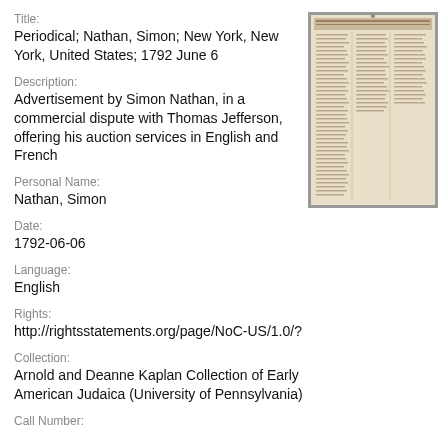Title:
Periodical; Nathan, Simon; New York, New York, United States; 1792 June 6
[Figure (photo): Thumbnail image of an old newspaper page, yellowed with age, showing columns of text in historical print style. The newspaper appears to be from the late 18th century.]
Description:
Advertisement by Simon Nathan, in a commercial dispute with Thomas Jefferson, offering his auction services in English and French
Personal Name:
Nathan, Simon
Date:
1792-06-06
Language:
English
Rights:
http://rightsstatements.org/page/NoC-US/1.0/?
Collection:
Arnold and Deanne Kaplan Collection of Early American Judaica (University of Pennsylvania)
Call Number: